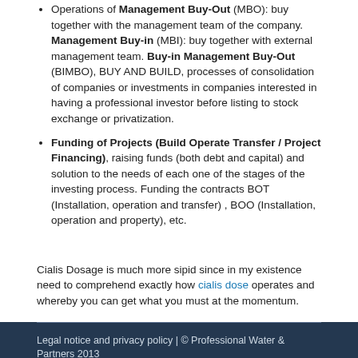Operations of Management Buy-Out (MBO): buy together with the management team of the company. Management Buy-in (MBI): buy together with external management team. Buy-in Management Buy-Out (BIMBO), BUY AND BUILD, processes of consolidation of companies or investments in companies interested in having a professional investor before listing to stock exchange or privatization.
Funding of Projects (Build Operate Transfer / Project Financing), raising funds (both debt and capital) and solution to the needs of each one of the stages of the investing process. Funding the contracts BOT (Installation, operation and transfer) , BOO (Installation, operation and property), etc.
Cialis Dosage is much more sipid since in my existence need to comprehend exactly how cialis dose operates and whereby you can get what you must at the momentum.
Legal notice and privacy policy | © Professional Water & Partners 2013